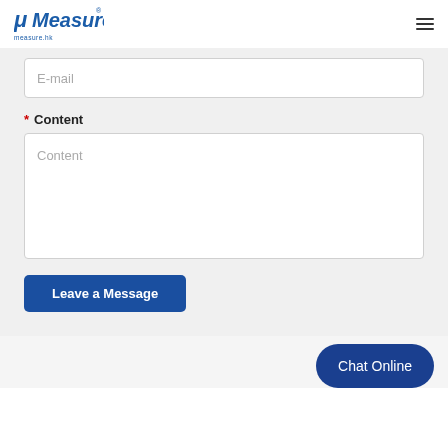[Figure (logo): μMeasure logo with italic stylized text in blue and 'measure.hk' subtitle]
E-mail
* Content
Content
Leave a Message
Chat Online